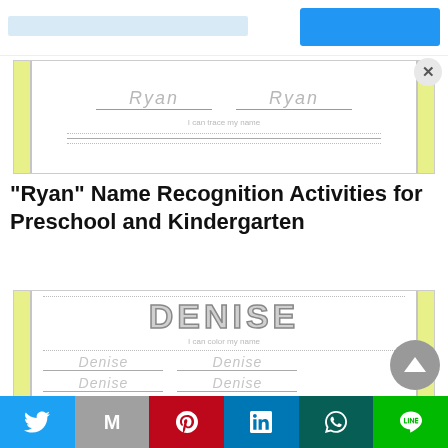[Figure (screenshot): Ad banner with blue input bar and blue button]
[Figure (screenshot): Worksheet preview showing 'Ryan' name tracing practice with yellow side bars, dotted lines, and 'I can trace my name' label]
“Ryan” Name Recognition Activities for Preschool and Kindergarten
[Figure (screenshot): Worksheet preview showing 'DENISE' in large bubble letters at top, 'I can color my name' label, dotted lines, and 'Denise' name tracing rows with yellow side bars]
[Figure (screenshot): Social sharing bar with Twitter, Gmail, Pinterest, LinkedIn, WhatsApp, and LINE buttons]